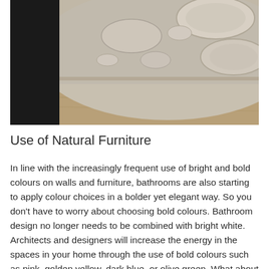[Figure (photo): Photo showing a rug with stone-like oval patterns on a wooden floor. Left portion shows a dark black area, right portion shows the textured rug in grey and beige tones on a wood floor.]
Use of Natural Furniture
In line with the increasingly frequent use of bright and bold colours on walls and furniture, bathrooms are also starting to apply colour choices in a bolder yet elegant way. So you don't have to worry about choosing bold colours. Bathroom design no longer needs to be combined with bright white. Architects and designers will increase the energy in the spaces in your home through the use of bold colours such as pink, golden yellow, dark blue, or olive green. What about the use of colour in your bathroom interior design? Are you